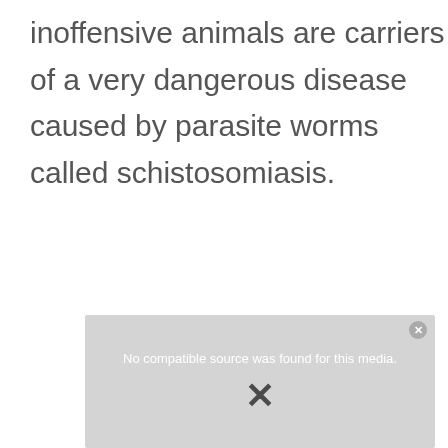inoffensive animals are carriers of a very dangerous disease caused by parasite worms called schistosomiasis.
[Figure (other): Video player placeholder showing 'No compatible source was found for this media.' with a close button and an X symbol overlay on a grey background.]